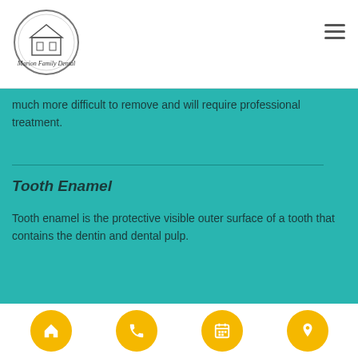Marion Family Dental
much more difficult to remove and will require professional treatment.
Tooth Enamel
Tooth enamel is the protective visible outer surface of a tooth that contains the dentin and dental pulp.
Helpful Related Links
[Figure (logo): Marion Family Dental circular logo with building icon]
[Figure (infographic): Four yellow circular icon buttons: home, phone, calendar, location pin]